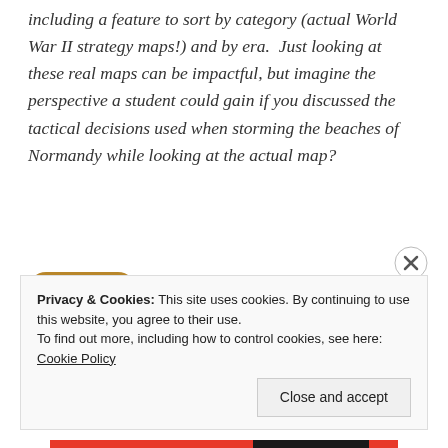including a feature to sort by category (actual World War II strategy maps!) and by era. Just looking at these real maps can be impactful, but imagine the perspective a student could gain if you discussed the tactical decisions used when storming the beaches of Normandy while looking at the actual map?
[Figure (illustration): App icon for an education app — a dark blue chalkboard-style rounded square with a white chalk-drawn apple (teacher's apple motif) on it, framed with a wood-colored border.]
Privacy & Cookies: This site uses cookies. By continuing to use this website, you agree to their use. To find out more, including how to control cookies, see here: Cookie Policy
Close and accept